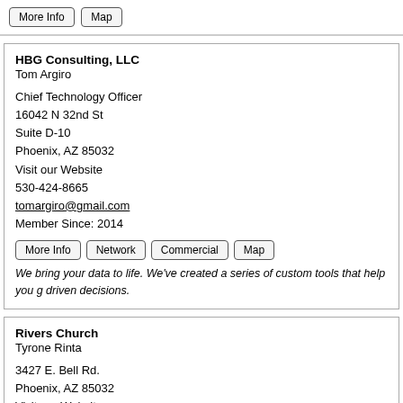More Info | Map
HBG Consulting, LLC
Tom Argiro

Chief Technology Officer
16042 N 32nd St
Suite D-10
Phoenix, AZ 85032
Visit our Website
530-424-8665
tomargiro@gmail.com
Member Since: 2014
More Info | Network | Commercial | Map
We bring your data to life. We've created a series of custom tools that help you get driven decisions.
Rivers Church
Tyrone Rinta

3427 E. Bell Rd.
Phoenix, AZ 85032
Visit our Website
602-992-3904
tyrone@riverschurch.co
Member Since: 2018